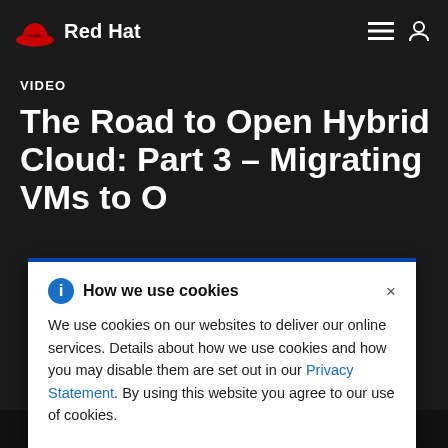Red Hat
VIDEO
The Road to Open Hybrid Cloud: Part 3 – Migrating VMs to O...
How we use cookies

We use cookies on our websites to deliver our online services. Details about how we use cookies and how you may disable them are set out in our Privacy Statement. By using this website you agree to our use of cookies.